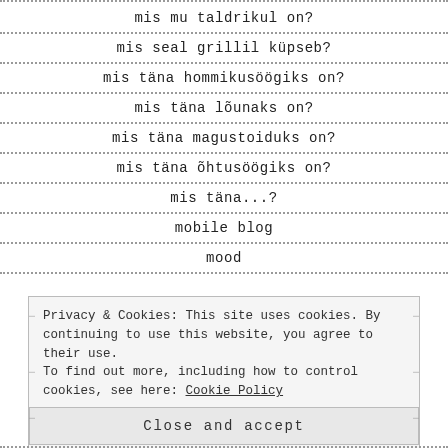mis mu taldrikul on?
mis seal grillil küpseb?
mis täna hommikusöögiks on?
mis täna lõunaks on?
mis täna magustoiduks on?
mis täna õhtusöögiks on?
mis täna...?
mobile blog
mood
Privacy & Cookies: This site uses cookies. By continuing to use this website, you agree to their use. To find out more, including how to control cookies, see here: Cookie Policy
Close and accept